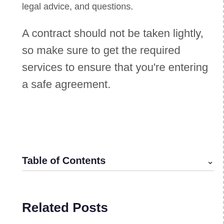legal advice, and questions.
A contract should not be taken lightly, so make sure to get the required services to ensure that you're entering a safe agreement.
Table of Contents
Related Posts